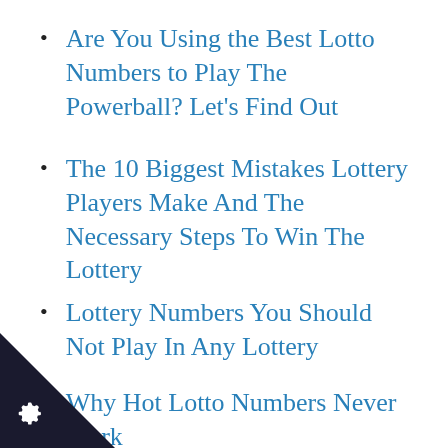Are You Using the Best Lotto Numbers to Play The Powerball? Let's Find Out
The 10 Biggest Mistakes Lottery Players Make And The Necessary Steps To Win The Lottery
Lottery Numbers You Should Not Play In Any Lottery
Why Hot Lotto Numbers Never Work